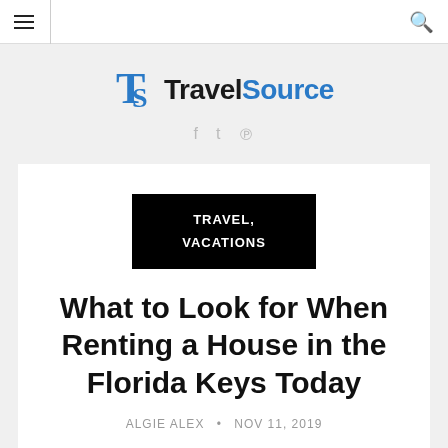TravelSource — navigation bar with hamburger menu and search icon
[Figure (logo): TravelSource logo with stylized TS icon; Travel in dark, Source in blue]
TRAVEL, VACATIONS
What to Look for When Renting a House in the Florida Keys Today
ALGIE ALEX • NOV 11, 2019